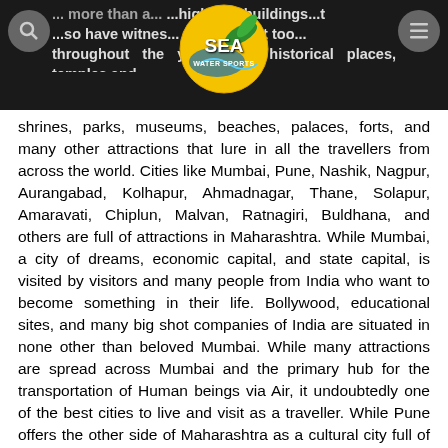SEA WATER SPORTS — navigation header with logo, search and menu buttons
shrines, parks, museums, beaches, palaces, forts, and many other attractions that lure in all the travellers from across the world. Cities like Mumbai, Pune, Nashik, Nagpur, Aurangabad, Kolhapur, Ahmadnagar, Thane, Solapur, Amaravati, Chiplun, Malvan, Ratnagiri, Buldhana, and others are full of attractions in Maharashtra. While Mumbai, a city of dreams, economic capital, and state capital, is visited by visitors and many people from India who want to become something in their life. Bollywood, educational sites, and many big shot companies of India are situated in none other than beloved Mumbai. While many attractions are spread across Mumbai and the primary hub for the transportation of Human beings via Air, it undoubtedly one of the best cities to live and visit as a traveller. While Pune offers the other side of Maharashtra as a cultural city full of temples, historical places and pride of Maharashtra are a must-visit city.